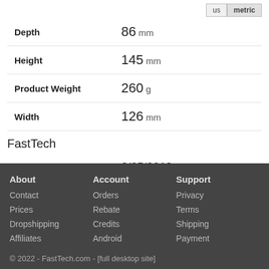| Attribute | Value |
| --- | --- |
| Depth | 86 mm |
| Height | 145 mm |
| Product Weight | 260 g |
| Width | 126 mm |
FastTech
| Attribute | Value |
| --- | --- |
| Date Listed | 3/25/2018 |
| SKU | 9643229 |
About | Contact | Prices | Dropshipping | Affiliates | Account | Orders | Rebate | Credits | Android | Support | Privacy | Terms | Shipping | Payment | © 2022 - FastTech.com - [full desktop site]